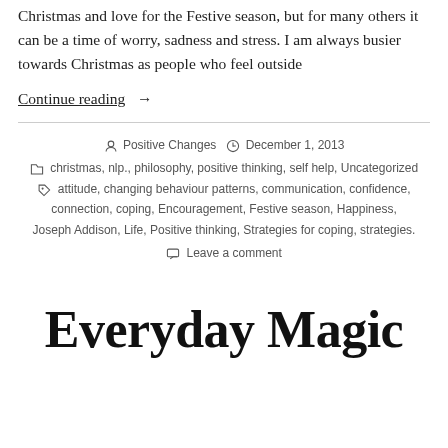Christmas and love for the Festive season, but for many others it can be a time of worry, sadness and stress. I am always busier towards Christmas as people who feel outside
Continue reading  →
Positive Changes  December 1, 2013  christmas, nlp., philosophy, positive thinking, self help, Uncategorized  attitude, changing behaviour patterns, communication, confidence, connection, coping, Encouragement, Festive season, Happiness, Joseph Addison, Life, Positive thinking, Strategies for coping, strategies.  Leave a comment
Everyday Magic